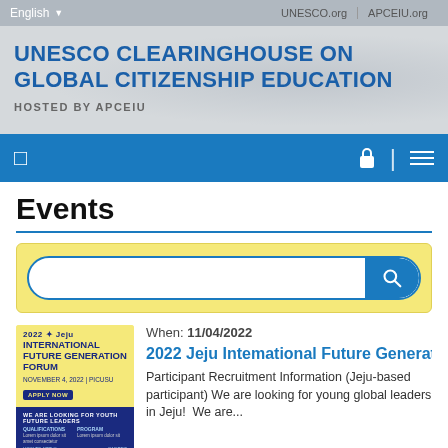English   UNESCO.org   APCEIU.org
UNESCO CLEARINGHOUSE ON GLOBAL CITIZENSHIP EDUCATION HOSTED BY APCEIU
Events
[Figure (screenshot): Search bar with blue search button on yellow background]
[Figure (photo): 2022 Jeju International Future Generation Forum event poster, dark blue and yellow design]
When: 11/04/2022
2022 Jeju International Future Generat
Participant Recruitment Information (Jeju-based participant) We are looking for young global leaders in Jeju!  We are...
ADD TO FAVOURITES